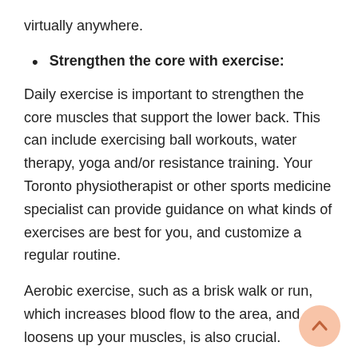virtually anywhere.
Strengthen the core with exercise:
Daily exercise is important to strengthen the core muscles that support the lower back. This can include exercising ball workouts, water therapy, yoga and/or resistance training. Your Toronto physiotherapist or other sports medicine specialist can provide guidance on what kinds of exercises are best for you, and customize a regular routine.
Aerobic exercise, such as a brisk walk or run, which increases blood flow to the area, and loosens up your muscles, is also crucial.
Stretch: